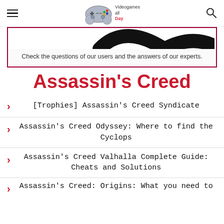Videogames all Day
[Figure (screenshot): Partial image showing a curved black shape on white background, part of a Q&A section illustration]
Check the questions of our users and the answers of our experts.
Assassin's Creed
[Trophies] Assassin's Creed Syndicate
Assassin's Creed Odyssey: Where to find the Cyclops
Assassin's Creed Valhalla Complete Guide: Cheats and Solutions
Assassin's Creed: Origins: What you need to